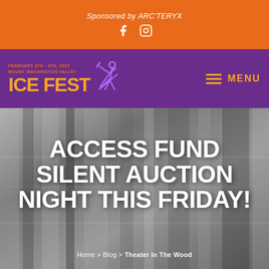Sponsored by ARC'TERYX
[Figure (logo): Facebook and Instagram social media icons]
[Figure (logo): Mount Washington Valley Ice Fest logo: February 4th - 6th, 2022 with orange text and purple climber graphic, MENU button]
ACCESS FUND SILENT AUCTION NIGHT THIS FRIDAY!
Home > Blog > Theater In The Wood